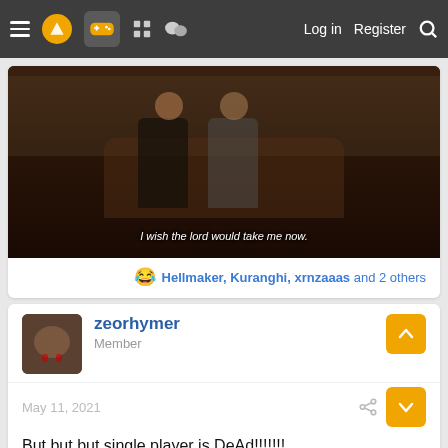≡ [logo] [gamepad] [grid] [chat]   Log in  Register  [search]
[Figure (screenshot): Movie/TV scene: two people sitting on an ornate sofa in a formal room. Subtitle text at bottom: 'I wish the lord would take me now.']
😂 Hellmaker, Kuranghi, xrnzaaas and 2 others
zeorhymer
Member
May 11, 2021
But but but single player is DeAd!!!!!!!